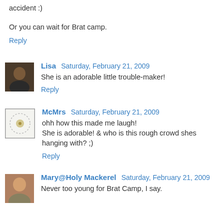accident :)
Or you can wait for Brat camp.
Reply
Lisa  Saturday, February 21, 2009
She is an adorable little trouble-maker!
Reply
McMrs  Saturday, February 21, 2009
ohh how this made me laugh!
She is adorable! & who is this rough crowd shes hanging with? ;)
Reply
Mary@Holy Mackerel  Saturday, February 21, 2009
Never too young for Brat Camp, I say.